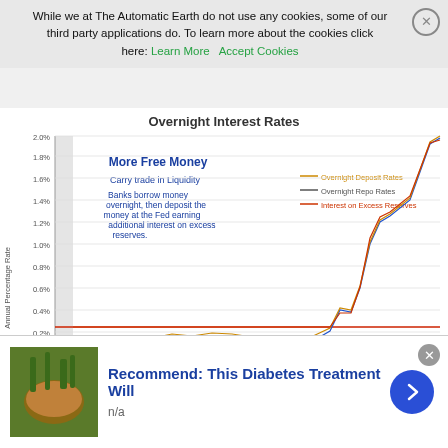While we at The Automatic Earth do not use any cookies, some of our third party applications do. To learn more about the cookies click here: Learn More   Accept Cookies
[Figure (line-chart): Line chart showing Overnight Deposit Rates, Overnight Repo Rates, and Interest on Excess Reserves from 2009 to 2018. All three rates hover near 0.1-0.25% from 2009-2015, then rise sharply from 2016 to nearly 2.0% by 2018. A flat red line at 0.25% is visible. Annotation reads 'More Free Money / Carry trade in Liquidity / Banks borrow money overnight, then deposit the money at the Fed earning additional interest on excess reserves.']
St. Louis Fed / MishTalk
Recommend: This Diabetes Treatment Will
n/a